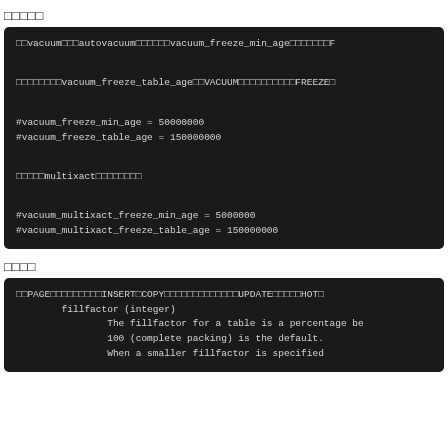□□□□□
□□vacuum□□□autovacuum□□□□□□vacuum_freeze_min_age□□□□□□□F
□□□□□□□□vacuum_freeze_table_age□□VACUUM□□□□□□□□□□FREEZE□

#vacuum_freeze_min_age = 50000000
#vacuum_freeze_table_age = 150000000

□□□□□multixact□□□□□□□□

#vacuum_multixact_freeze_min_age = 5000000
#vacuum_multixact_freeze_table_age = 150000000
□□□□
□□PAGE□□□□□□□□□INSERT□COPY□□□□□□□□□□□□□UPDATE□□□□□HOT□
        fillfactor (integer)
                The fillfactor for a table is a percentage be
                100 (complete packing) is the default.
                When a smaller fillfactor is specified